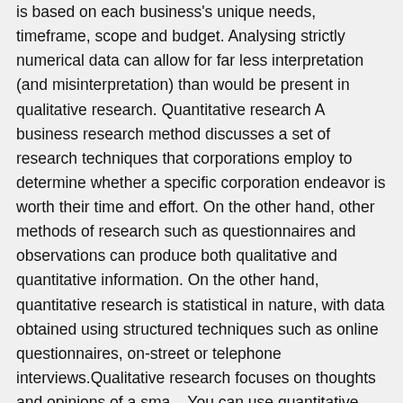is based on each business's unique needs, timeframe, scope and budget. Analysing strictly numerical data can allow for far less interpretation (and misinterpretation) than would be present in qualitative research. Quantitative research A business research method discusses a set of research techniques that corporations employ to determine whether a specific corporation endeavor is worth their time and effort. On the other hand, other methods of research such as questionnaires and observations can produce both qualitative and quantitative information. On the other hand, quantitative research is statistical in nature, with data obtained using structured techniques such as online questionnaires, on-street or telephone interviews.Qualitative research focuses on thoughts and opinions of a sma... You can use quantitative research methods for descriptive, correlational or experimental research. They will gain hands-on skills to analyze quantitative data and offer solutions to the research questions posed. Quantitative and research methods in business question paper madras university for essay on leadership pdf. Boundaries. If you